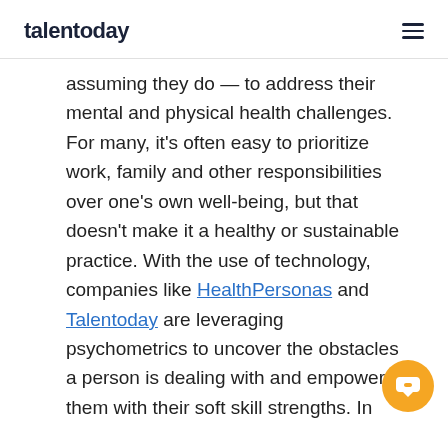talentoday
assuming they do — to address their mental and physical health challenges. For many, it's often easy to prioritize work, family and other responsibilities over one's own well-being, but that doesn't make it a healthy or sustainable practice. With the use of technology, companies like HealthPersonas and Talentoday are leveraging psychometrics to uncover the obstacles a person is dealing with and empower them with their soft skill strengths. In